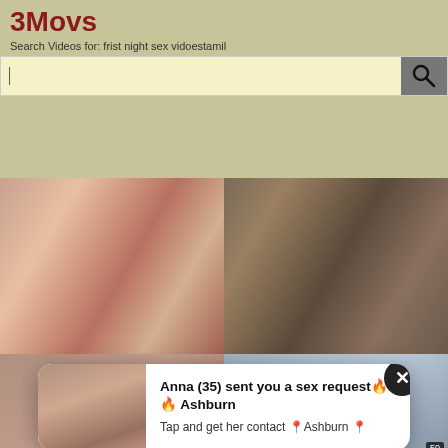3Movs
Search Videos for: frist night sex vidoestamil
[Figure (screenshot): Search bar with magnifying glass icon on beige/khaki background]
[Figure (photo): Video thumbnail showing adult content - left panel]
[Figure (photo): Video thumbnail showing adult content - right panel]
[Figure (screenshot): Popup notification card: Anna (35) sent you a sex request, Ashburn. Tap and get her contact Ashburn. With close button (X).]
Anna (35) sent you a sex request🔥🔥 Ashburn
Tap and get her contact 📍Ashburn 📍